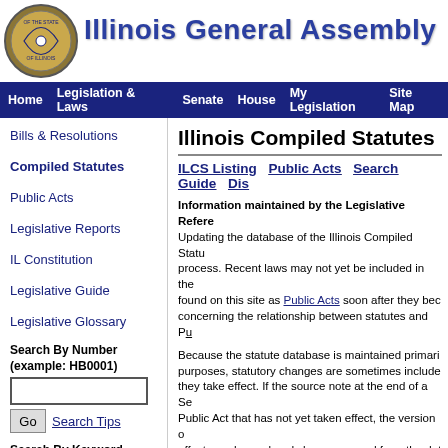Illinois General Assembly
Home | Legislation & Laws | Senate | House | My Legislation | Site Map
Bills & Resolutions
Compiled Statutes
Public Acts
Legislative Reports
IL Constitution
Legislative Guide
Legislative Glossary
Search By Number (example: HB0001)
Search Tips
Search By Keyword
Illinois Compiled Statutes
ILCS Listing | Public Acts | Search | Guide | Dis...
Information maintained by the Legislative Reference Bureau. Updating the database of the Illinois Compiled Statutes is an ongoing process. Recent laws may not yet be included in the database, but are found on this site as Public Acts soon after they become law. For information concerning the relationship between statutes and Public Acts, refer to the Guide.
Because the statute database is maintained primarily for legislative drafting purposes, statutory changes are sometimes included in the statute database before they take effect. If the source note at the end of a Section of the statutes includes a Public Act that has not yet taken effect, the version of the law that is currently in effect may have already been removed from the database and you should refer to that Public Act to see the changes made to the current law.
(430 ILCS 66/105)
    Sec. 105. Duty of school administrators. Each person serving as the principal of a public elementary or secondary school, or his or her designee, and the chief administrator of a nonpublic private elementary or secondary school, a public or private community college, college, or university